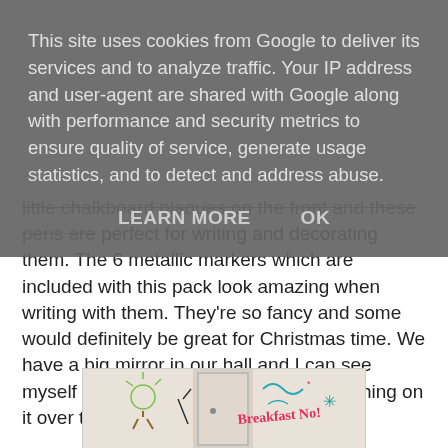This site uses cookies from Google to deliver its services and to analyze traffic. Your IP address and user-agent are shared with Google along with performance and security metrics to ensure quality of service, generate usage statistics, and to detect and address abuse.
LEARN MORE   OK
little chalkboard plaques on the front and these pens are perfect for writing and decorating them. The 6 metallic markers which are included with this pack look amazing when writing with them. They're so fancy and some would definitely be great for Christmas time. We have a big mirror in our hall and I can see myself writing Merry Christmas or something on it over the festive period.
[Figure (photo): A hallway/room with a white door, decorated with colorful marker writings including 'Breakfast No!' in pink/red and other colorful scribbles and drawings in green, teal, and blue colors on the walls and door.]